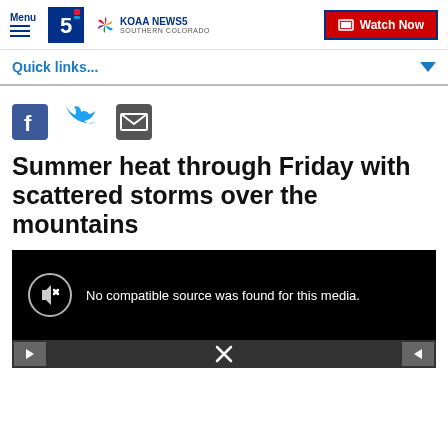Menu | KOAA NEWS5 SOUTHERN COLORADO | Watch Now
Quick links...
[Figure (infographic): Social sharing icons: Facebook, Twitter, Email]
Summer heat through Friday with scattered storms over the mountains
[Figure (screenshot): Video player showing: No compatible source was found for this media.]